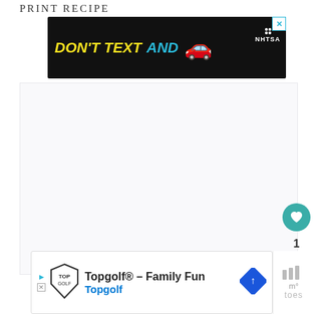PRINT RECIPE
[Figure (screenshot): Advertisement banner: dark background with 'DON'T TEXT' in yellow bold italic text and 'AND' in cyan bold italic text, a red car emoji, 'ad' badge and NHTSA logo on the right. Close button (X) in top right corner.]
[Figure (screenshot): Main content area: light gray/white rectangle, largely empty (content area of a print recipe web page).]
[Figure (infographic): Floating action button: teal circle with white heart icon, count '1' below, and a share button (circle with share icon).]
[Figure (screenshot): Bottom advertisement banner: Topgolf logo, text 'Topgolf® - Family Fun' and 'Topgolf' in blue, blue diamond navigation icon on right. Close (X) and play button on left side.]